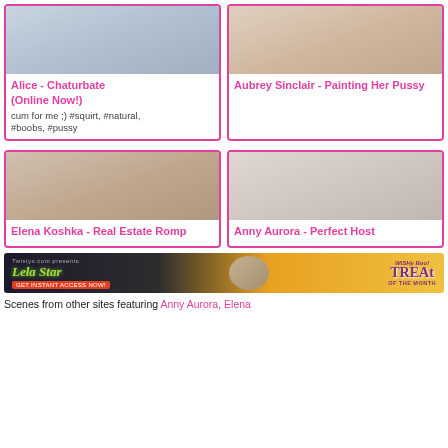[Figure (photo): Alice - Chaturbate thumbnail photo]
Alice - Chaturbate (Online Now!)
cum for me ;) #squirt, #natural, #boobs, #pussy
[Figure (photo): Aubrey Sinclair - Painting Her Pussy thumbnail photo]
Aubrey Sinclair - Painting Her Pussy
[Figure (photo): Elena Koshka - Real Estate Romp thumbnail photo]
Elena Koshka - Real Estate Romp
[Figure (photo): Anny Aurora - Perfect Host thumbnail photo]
Anny Aurora - Perfect Host
[Figure (photo): Lela Star banner advertisement - Twistys.com Treat of the Month]
Scenes from other sites featuring Anny Aurora, Elena